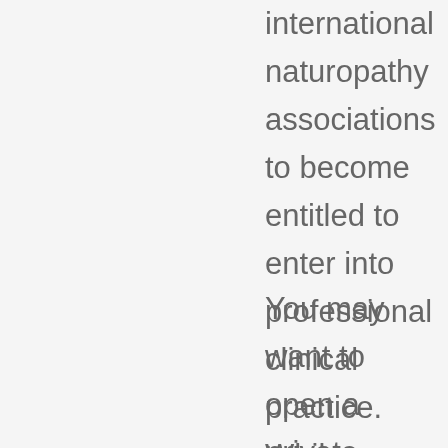international naturopathy associations to become entitled to enter into professional clinical practice. While becoming a naturopath requires a serious commitment of time and money, NZQA funding can be applied for.
You may want to open a private practice or work along with other professionals in a wellness clinic. Some naturopaths become consultants in health food stores and other retail environments.